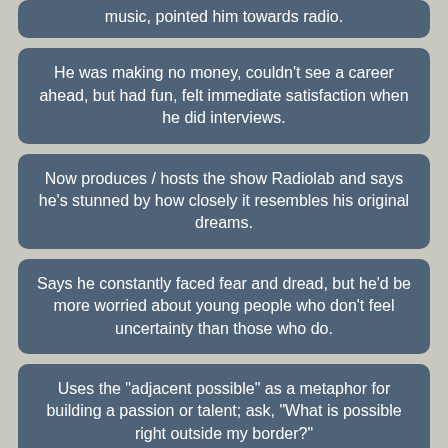music, pointed him towards radio.
He was making no money, couldn't see a career ahead, but had fun, felt immediate satisfaction when he did interviews.
Now produces / hosts the show Radiolab and says he's stunned by how closely it resembles his original dreams.
Says he constantly faced fear and dread, but he'd be more worried about young people who don't feel uncertainty than those who do.
Uses the "adjacent possible" as a metaphor for building a passion or talent; ask, "What is possible right outside my border?"
When he started doing the show, he received